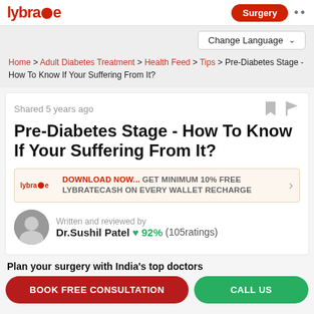lybrate Surgery ...
Change Language
Home > Adult Diabetes Treatment > Health Feed > Tips > Pre-Diabetes Stage - How To Know If Your Suffering From It?
Shared 5 years ago
Pre-Diabetes Stage - How To Know If Your Suffering From It?
DOWNLOAD NOW... GET MINIMUM 10% FREE LYBRATECASH ON EVERY WALLET RECHARGE
Written and reviewed by Dr.Sushil Patel 92% (105ratings)
Plan your surgery with India's top doctors
BOOK FREE CONSULTATION
CALL US